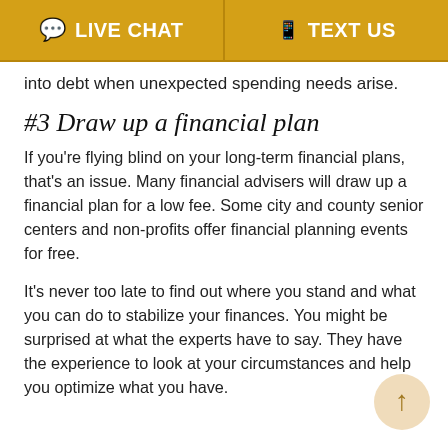LIVE CHAT   TEXT US
into debt when unexpected spending needs arise.
#3 Draw up a financial plan
If you're flying blind on your long-term financial plans, that's an issue. Many financial advisers will draw up a financial plan for a low fee. Some city and county senior centers and non-profits offer financial planning events for free.
It's never too late to find out where you stand and what you can do to stabilize your finances. You might be surprised at what the experts have to say. They have the experience to look at your circumstances and help you optimize what you have.